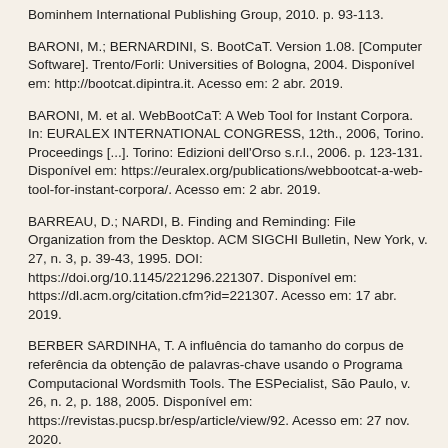Bominhem International Publishing Group, 2010. p. 93-113.
BARONI, M.; BERNARDINI, S. BootCaT. Version 1.08. [Computer Software]. Trento/Forli: Universities of Bologna, 2004. Disponível em: http://bootcat.dipintra.it. Acesso em: 2 abr. 2019.
BARONI, M. et al. WebBootCaT: A Web Tool for Instant Corpora. In: EURALEX INTERNATIONAL CONGRESS, 12th., 2006, Torino. Proceedings [...]. Torino: Edizioni dell'Orso s.r.l., 2006. p. 123-131. Disponível em: https://euralex.org/publications/webbootcat-a-web-tool-for-instant-corpora/. Acesso em: 2 abr. 2019.
BARREAU, D.; NARDI, B. Finding and Reminding: File Organization from the Desktop. ACM SIGCHI Bulletin, New York, v. 27, n. 3, p. 39-43, 1995. DOI: https://doi.org/10.1145/221296.221307. Disponível em: https://dl.acm.org/citation.cfm?id=221307. Acesso em: 17 abr. 2019.
BERBER SARDINHA, T. A influência do tamanho do corpus de referência da obtenção de palavras-chave usando o Programa Computacional Wordsmith Tools. The ESPecialist, São Paulo, v. 26, n. 2, p. 188, 2005. Disponível em: https://revistas.pucsp.br/esp/article/view/92. Acesso em: 27 nov. 2020.
BERBER SARDINHA, T. Linguística de...